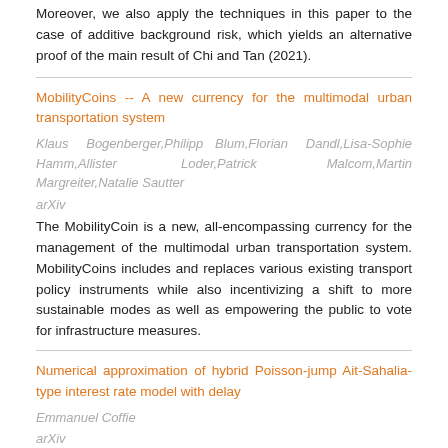Moreover, we also apply the techniques in this paper to the case of additive background risk, which yields an alternative proof of the main result of Chi and Tan (2021).
MobilityCoins -- A new currency for the multimodal urban transportation system
Klaus Bogenberger,Philipp Blum,Florian Dandl,Lisa-Sophie Hamm,Allister Loder,Patrick Malcom,Martin Margreiter,Natalie Sautter
arXiv
The MobilityCoin is a new, all-encompassing currency for the management of the multimodal urban transportation system. MobilityCoins includes and replaces various existing transport policy instruments while also incentivizing a shift to more sustainable modes as well as empowering the public to vote for infrastructure measures.
Numerical approximation of hybrid Poisson-jump Ait-Sahalia-type interest rate model with delay
Emmanuel Coffie
arXiv
While the original Ait-Sahalia interest rate model has been found to be able to accommodate for theatter, recent att...